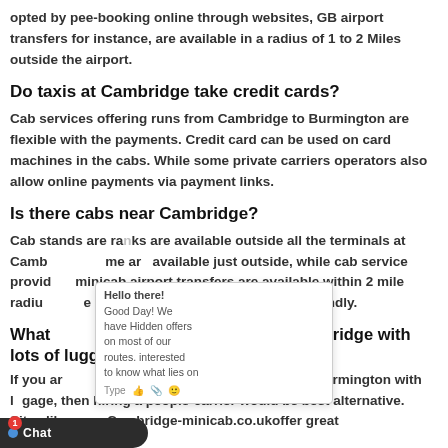opted by pee-booking online through websites, GB airport transfers for instance, are available in a radius of 1 to 2 Miles outside the airport.
Do taxis at Cambridge take credit cards?
Cab services offering runs from Cambridge to Burmington are flexible with the payments. Credit card can be used on card machines in the cabs. While some private carriers operators also allow online payments via payment links.
Is there cabs near Cambridge?
Cab stands are ranks are available outside all the terminals at Cambridge. Some are available just outside, while cab service providers minicab airport transfers are available within 2 mile radius of the airport, they are extremely pocket-friendly.
What is the best way to travel from Cambridge with lots of luggage?
If you are planning to travel from Cambridge to Burmington with luggage, then hiring a people-carrier would be best alternative. Sites like www.Cambridge-minicab.co.ukoffer great